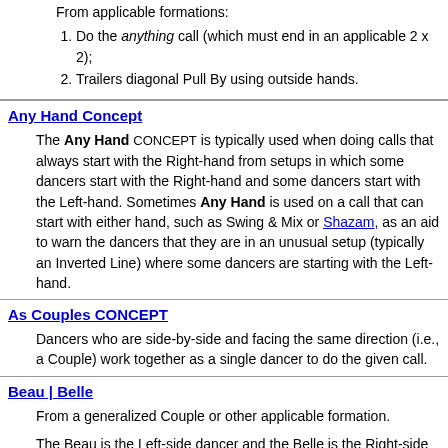From applicable formations:
Do the anything call (which must end in an applicable 2 x 2);
Trailers diagonal Pull By using outside hands.
Any Hand Concept
The Any Hand CONCEPT is typically used when doing calls that always start with the Right-hand from setups in which some dancers start with the Right-hand and some dancers start with the Left-hand. Sometimes Any Hand is used on a call that can start with either hand, such as Swing & Mix or Shazam, as an aid to warn the dancers that they are in an unusual setup (typically an Inverted Line) where some dancers are starting with the Left-hand.
As Couples CONCEPT
Dancers who are side-by-side and facing the same direction (i.e., a Couple) work together as a single dancer to do the given call.
Beau | Belle
From a generalized Couple or other applicable formation.
The Beau is the Left-side dancer and the Belle is the Right-side dancer.
Brace Thru